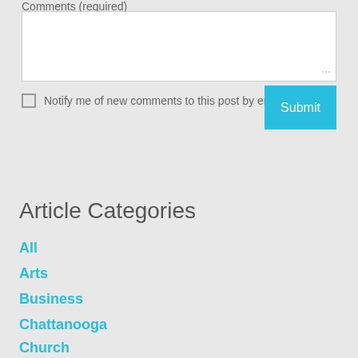Comments (required)
Notify me of new comments to this post by email
Submit
Article Categories
All
Arts
Business
Chattanooga
Church
Education
Educational